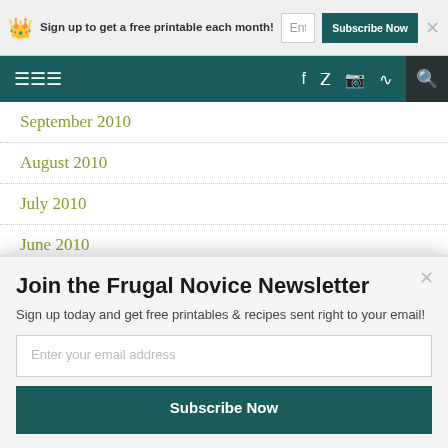Sign up to get a free printable each month! Enter your email addres Subscribe Now ×
[Figure (screenshot): Website navigation bar with hamburger menu, social icons (facebook, twitter, instagram, RSS), and search icon on dark teal background]
September 2010
August 2010
July 2010
June 2010
May 2010
Join the Frugal Novice Newsletter
Sign up today and get free printables & recipes sent right to your email!
Enter your email address
Subscribe Now